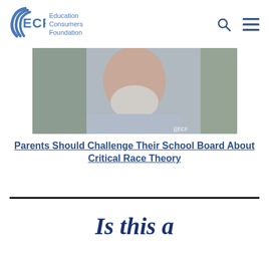ECF Education Consumers Foundation
[Figure (photo): Close-up photo of an older man with a white/gray beard wearing a light blue button-up shirt, outdoors. ECF watermark visible in lower right corner.]
Parents Should Challenge Their School Board About Critical Race Theory
Is this a
Is this a